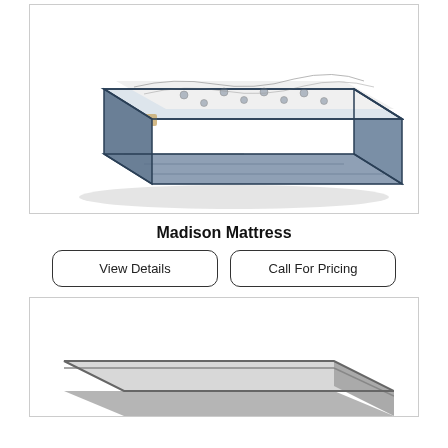[Figure (photo): Product photo of the Madison Mattress — a pillow-top mattress with a white tufted top surface and blue-gray patterned sides, shown in a 3/4 perspective view inside a light gray bordered box.]
Madison Mattress
View Details
Call For Pricing
[Figure (photo): Partial product photo of a second mattress — a corner/edge view of a gray mattress, partially visible at the bottom of the page, inside a light gray bordered box.]